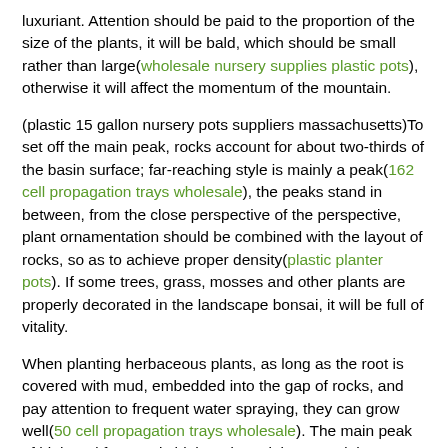luxuriant. Attention should be paid to the proportion of the size of the plants, it will be bald, which should be small rather than large(wholesale nursery supplies plastic pots), otherwise it will affect the momentum of the mountain.
(plastic 15 gallon nursery pots suppliers massachusetts)To set off the main peak, rocks account for about two-thirds of the basin surface; far-reaching style is mainly a peak(162 cell propagation trays wholesale), the peaks stand in between, from the close perspective of the perspective, plant ornamentation should be combined with the layout of rocks, so as to achieve proper density(plastic planter pots). If some trees, grass, mosses and other plants are properly decorated in the landscape bonsai, it will be full of vitality.
When planting herbaceous plants, as long as the root is covered with mud, embedded into the gap of rocks, and pay attention to frequent water spraying, they can grow well(50 cell propagation trays wholesale). The main peak of high and far type is high and precipitous, and the distribution peak is low(plastic hanging baskets wholesale). In this way, most of the flat and distant forms are low